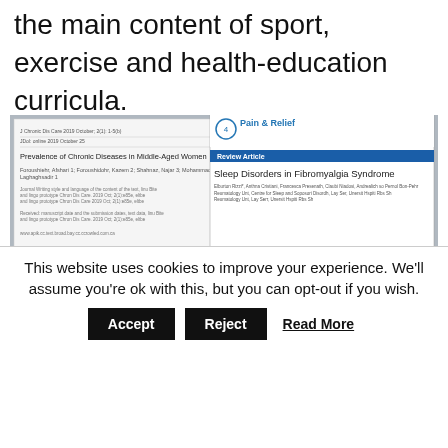the main content of sport, exercise and health-education curricula.
[Figure (screenshot): A composite image showing two research article covers (one on Prevalence of Chronic Diseases in Middle-Aged Women, one from Pain & Relief journal on Sleep Disorders in Fibromyalgia Syndrome) with an overlaid dark banner quote: 'Menopausal status remains an independent contributor for the number of cardiovascular disease risk indicators.' [Edwards & Jin Li, (2013). Endocrinology of Menopause. Periodontology, (61), 177-194]]
This website uses cookies to improve your experience. We'll assume you're ok with this, but you can opt-out if you wish.
Accept   Reject   Read More